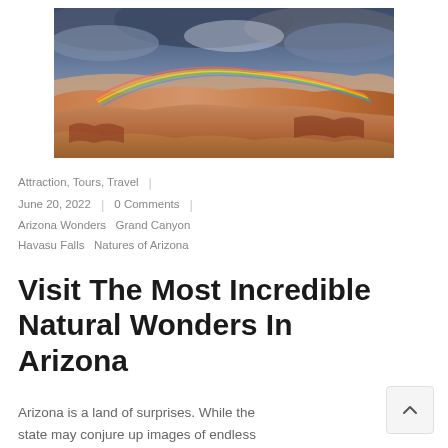[Figure (photo): Aerial panoramic photo of the Grand Canyon with dramatic storm clouds above and a rainbow arching over the colorful layered red and orange canyon walls.]
Attraction, Tours, Travel
June 20, 2022  |  0 Comments
Arizona Wonders  Grand Canyon  Havasu Falls  Natures of Arizona
Visit The Most Incredible Natural Wonders In Arizona
Arizona is a land of surprises. While the state may conjure up images of endless